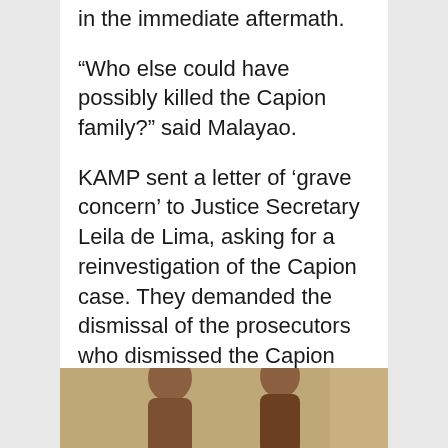in the immediate aftermath.
“Who else could have possibly killed the Capion family?” said Malayao.
KAMP sent a letter of ‘grave concern’ to Justice Secretary Leila de Lima, asking for a reinvestigation of the Capion case. They demanded the dismissal of the prosecutors who dismissed the Capion murder case, and for them to be placed under DOJ scrutiny.
[Figure (photo): Photograph of two people, partially cropped at the bottom of the page]